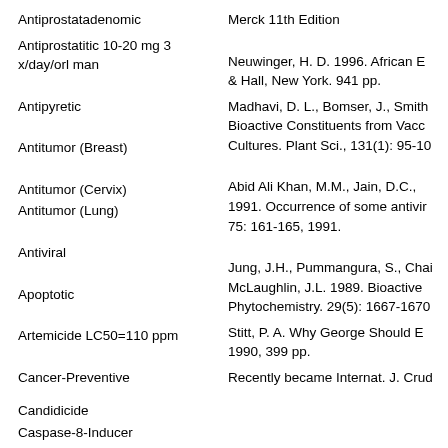Antiprostatadenomic
Antiprostatitic 10-20 mg 3 x/day/orl man
Antipyretic
Antitumor (Breast)
Antitumor (Cervix)
Antitumor (Lung)
Antiviral
Apoptotic
Artemicide LC50=110 ppm
Cancer-Preventive
Candidicide
Caspase-8-Inducer
Estrogenic
Merck 11th Edition
Neuwinger, H. D. 1996. African E & Hall, New York. 941 pp.
Madhavi, D. L., Bomser, J., Smith Bioactive Constituents from Vacc Cultures. Plant Sci., 131(1): 95-10
Abid Ali Khan, M.M., Jain, D.C., 1991. Occurrence of some antivir 75: 161-165, 1991.
Jung, J.H., Pummangura, S., Cha McLaughlin, J.L. 1989. Bioactive Phytochemistry. 29(5): 1667-1670
Stitt, P. A. Why George Should E 1990, 399 pp.
Recently became Internat. J. Crud